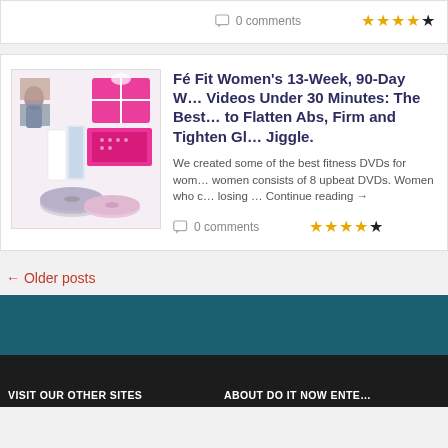0 comments ★★★★★
Fé Fit Women's 13-Week, 90-Day W… Videos Under 30 Minutes: The Best… to Flatten Abs, Firm and Tighten Gl… Jiggle.
We created some of the best fitness DVDs for women consists of 8 upbeat DVDs. Women who c… losing … Continue reading →
0 comments ★★★★★
← Older posts
VISIT OUR OTHER SITES    ABOUT DO IT NOW ENTE…